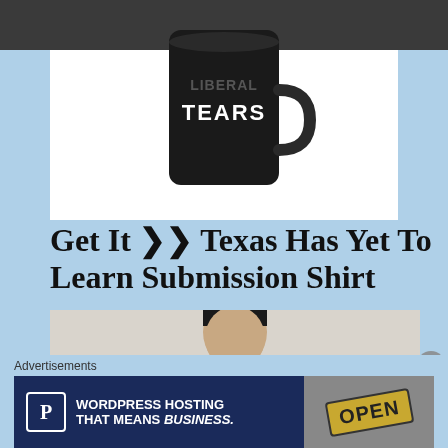BACK TO TOP
[Figure (photo): Product photo of a black mug with 'TEARS' text visible, displayed on a white background within a dark-topped container]
Get It ❱❱ Texas Has Yet To Learn Submission Shirt
[Figure (photo): Man wearing a white t-shirt that reads 'TEXAS HAS YET TO LEARN SUBMISSION TO' on a light beige background]
Advertisements
[Figure (infographic): Advertisement banner for WordPress Hosting: 'WORDPRESS HOSTING THAT MEANS BUSINESS.' with a P icon on the left and an OPEN sign photo on the right]